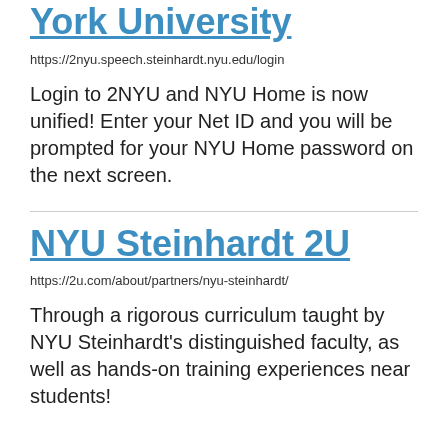York University
https://2nyu.speech.steinhardt.nyu.edu/login
Login to 2NYU and NYU Home is now unified! Enter your Net ID and you will be prompted for your NYU Home password on the next screen.
NYU Steinhardt 2U
https://2u.com/about/partners/nyu-steinhardt/
Through a rigorous curriculum taught by NYU Steinhardt's distinguished faculty, as well as hands-on training experiences near students!